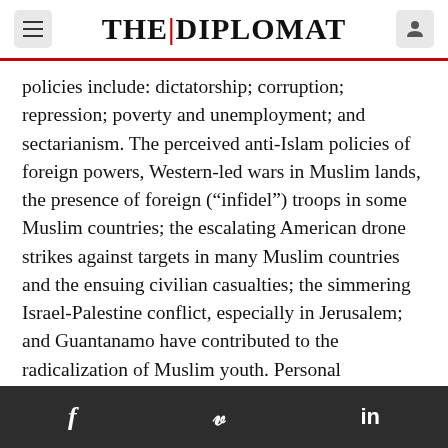THE DIPLOMAT
policies include: dictatorship; corruption; repression; poverty and unemployment; and sectarianism. The perceived anti-Islam policies of foreign powers, Western-led wars in Muslim lands, the presence of foreign (“infidel”) troops in some Muslim countries; the escalating American drone strikes against targets in many Muslim countries and the ensuing civilian casualties; the simmering Israel-Palestine conflict, especially in Jerusalem; and Guantanamo have contributed to the radicalization of Muslim youth. Personal experiences such as having a family member getting killed by a drone strike or by the security forces could drive a particular youth to commit a
f  𝒛  in